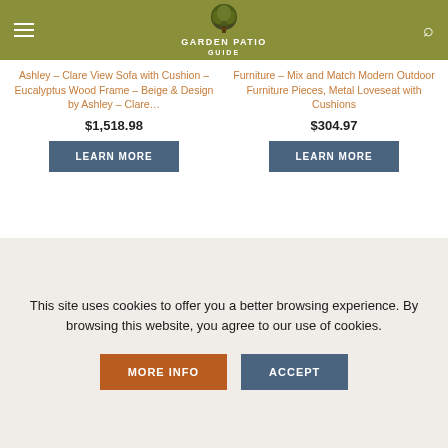GARDEN PATIO GUIDE
Ashley – Clare View Sofa with Cushion – Eucalyptus Wood Frame – Beige & Design by Ashley – Clare…
$1,518.98
LEARN MORE
Furniture – Mix and Match Modern Outdoor Furniture Pieces, Metal Loveseat with Cushions
$304.97
LEARN MORE
[Figure (photo): Outdoor garden/patio scene with trees and a structure]
This site uses cookies to offer you a better browsing experience. By browsing this website, you agree to our use of cookies.
MORE INFO
ACCEPT